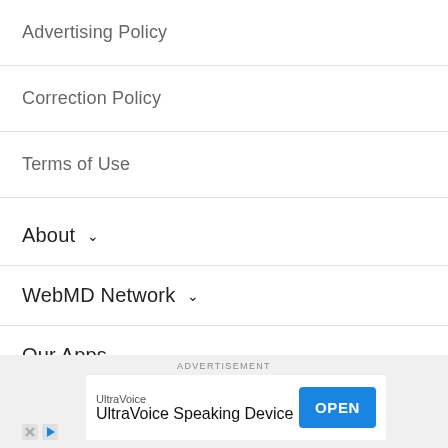Advertising Policy
Correction Policy
Terms of Use
About ∨
WebMD Network ∨
Our Apps ∨
For Advertisers ∨
ADVERTISEMENT
[Figure (screenshot): UltraVoice Speaking Device advertisement banner with OPEN button]